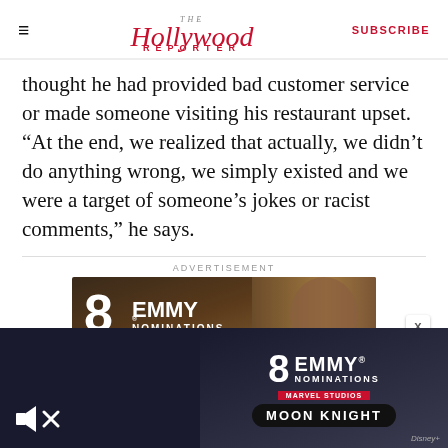The Hollywood Reporter — SUBSCRIBE
thought he had provided bad customer service or made someone visiting his restaurant upset. “At the end, we realized that actually, we didn’t do anything wrong, we simply existed and we were a target of someone’s jokes or racist comments,” he says.
ADVERTISEMENT
[Figure (photo): Advertisement banner: '8 EMMY NOMINATIONS' with background image of a man's face, partial view. A close X button appears to the right.]
[Figure (photo): Overlapping video ad at bottom of page. Left half shows dark navy background with mute icon. Right half shows '8 EMMY NOMINATIONS' with Marvel Studios logo, and 'MOON KNIGHT' title pill, Disney+ branding.]